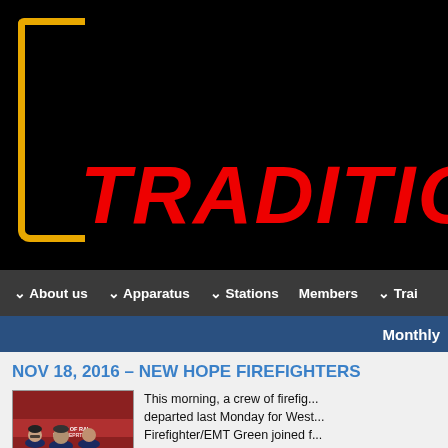[Figure (logo): Fire department logo banner with black background, gold L-bracket shape on left, and red italic bold text reading 'TRADITION' (partially cropped)]
About us   Apparatus   Stations   Members   Trai...
Monthly
NOV 18, 2016 – NEW HOPE FIREFIGHTERS
[Figure (photo): Three firefighters in navy sweatshirts standing in front of a red building with a sign reading 'CITY OF RALEIGH FIRE DEPARTMENT']
This morning, a crew of firefighters departed last Monday for West... Firefighter/EMT Green joined f... provided by the Raleigh Fire D...